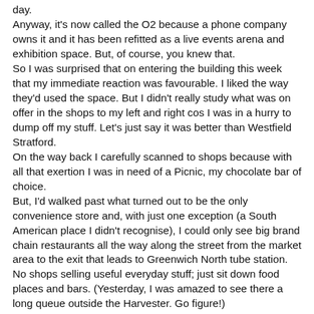day.
Anyway, it's now called the O2 because a phone company owns it and it has been refitted as a live events arena and exhibition space. But, of course, you knew that.
So I was surprised that on entering the building this week that my immediate reaction was favourable. I liked the way they'd used the space. But I didn't really study what was on offer in the shops to my left and right cos I was in a hurry to dump off my stuff. Let's just say it was better than Westfield Stratford.
On the way back I carefully scanned to shops because with all that exertion I was in need of a Picnic, my chocolate bar of choice.
But, I'd walked past what turned out to be the only convenience store and, with just one exception (a South American place I didn't recognise), I could only see big brand chain restaurants all the way along the street from the market area to the exit that leads to Greenwich North tube station. No shops selling useful everyday stuff; just sit down food places and bars. (Yesterday, I was amazed to see there a long queue outside the Harvester. Go figure!)
I asked a security man near the exit where I might buy a bottle of water now for a chocolate bar some of training and